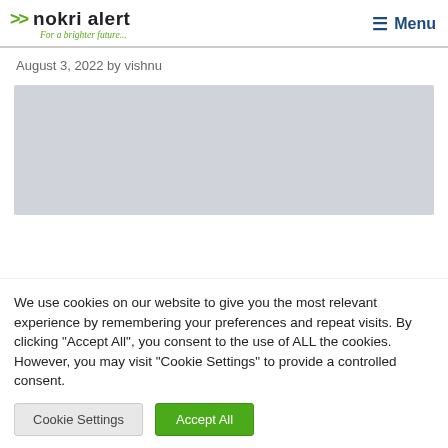nokri alert – For a brighter future... Menu
August 3, 2022 by vishnu
[Figure (other): Gray placeholder advertisement block]
We use cookies on our website to give you the most relevant experience by remembering your preferences and repeat visits. By clicking "Accept All", you consent to the use of ALL the cookies. However, you may visit "Cookie Settings" to provide a controlled consent.